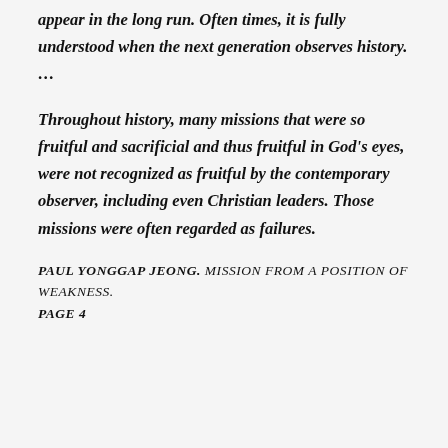appear in the long run. Often times, it is fully understood when the next generation observes history. …
Throughout history, many missions that were so fruitful and sacrificial and thus fruitful in God's eyes, were not recognized as fruitful by the contemporary observer, including even Christian leaders. Those missions were often regarded as failures.
PAUL YONGGAP JEONG. MISSION FROM A POSITION OF WEAKNESS. PAGE 4